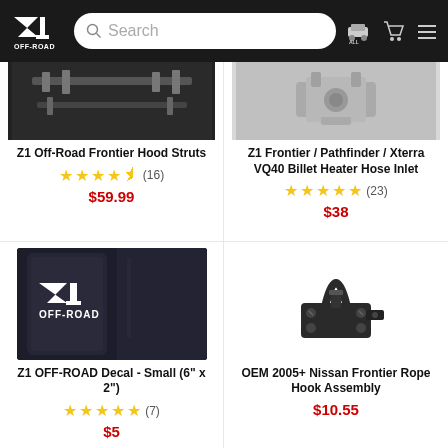Z1 Off-Road - Search bar - navigation header
[Figure (photo): Z1 Off-Road Frontier Hood Struts product image (black bracket hardware)]
Z1 Off-Road Frontier Hood Struts
★★★★½ (16) $59.99
[Figure (photo): Z1 Frontier / Pathfinder / Xterra VQ40 Billet Heater Hose Inlet product image]
Z1 Frontier / Pathfinder / Xterra VQ40 Billet Heater Hose Inlet
★★★★★ (23) $38
[Figure (photo): Z1 OFF-ROAD Decal sticker on vehicle window - white Z1 Off-Road logo on dark background]
Z1 OFF-ROAD Decal - Small (6" x 2")
★★★★★ (7) $5
[Figure (photo): OEM 2005+ Nissan Frontier Rope Hook Assembly - black metal hook hardware]
OEM 2005+ Nissan Frontier Rope Hook Assembly
$10.55